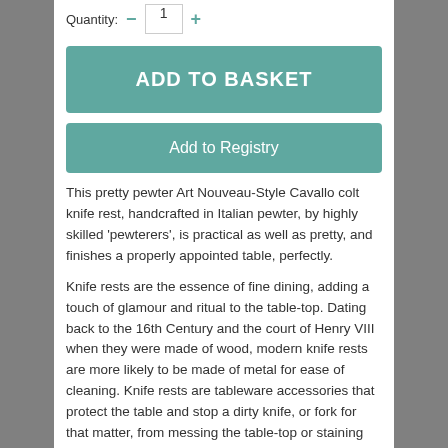Quantity: − 1 +
ADD TO BASKET
Add to Registry
This pretty pewter Art Nouveau-Style Cavallo colt knife rest, handcrafted in Italian pewter, by highly skilled 'pewterers', is practical as well as pretty, and finishes a properly appointed table, perfectly.
Knife rests are the essence of fine dining, adding a touch of glamour and ritual to the table-top. Dating back to the 16th Century and the court of Henry VIII when they were made of wood, modern knife rests are more likely to be made of metal for ease of cleaning. Knife rests are tableware accessories that protect the table and stop a dirty knife, or fork for that matter, from messing the table-top or staining the